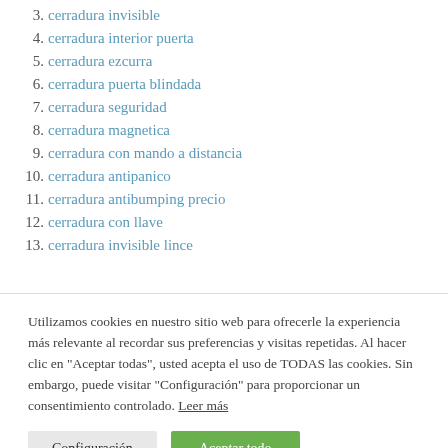3. cerradura invisible
4. cerradura interior puerta
5. cerradura ezcurra
6. cerradura puerta blindada
7. cerradura seguridad
8. cerradura magnetica
9. cerradura con mando a distancia
10. cerradura antipanico
11. cerradura antibumping precio
12. cerradura con llave
13. cerradura invisible lince
Utilizamos cookies en nuestro sitio web para ofrecerle la experiencia más relevante al recordar sus preferencias y visitas repetidas. Al hacer clic en "Aceptar todas", usted acepta el uso de TODAS las cookies. Sin embargo, puede visitar "Configuración" para proporcionar un consentimiento controlado. Leer más
Configuración | Aceptar todo